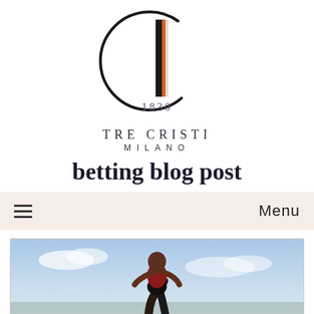[Figure (logo): Tre Cristi Milano logo: circular arc with a vertical line and colored stripe (black, orange, white), year 1830 below]
betting blog post
Menu
[Figure (photo): Soccer/football player jumping in the air wearing a red shirt and dark shorts, against a blue sky background]